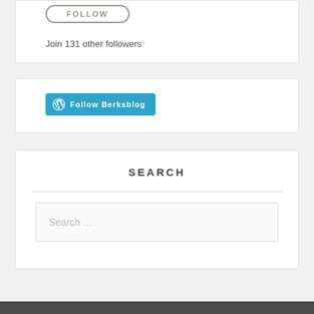[Figure (other): FOLLOW button with rounded border]
Join 131 other followers
[Figure (other): WordPress Follow Berksblog button]
SEARCH
Search …